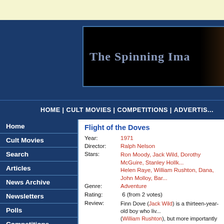The Spinning Image
HOME | CULT MOVIES | COMPETITIONS | ADVERTIS...
Home
Cult Movies
Search
Articles
News Archive
Newsletters
Polls
Competitions
Links
Advertise
Flight of the Doves
Year: 1971
Director: Ralph Nelson
Stars: Ron Moody, Jack Wild, Dorothy McGuire, Stanley Holloway, Helen Raye, William Rushton, Dana, John Molloy, Barry Keegan, Brendan O'Reilly, Noel Purcell, Tom Hickey, Niall Tobin
Genre: Adventure
Rating: 6 (from 2 votes)
Review: Finn Dove (Jack Wild) is a thirteen-year-old boy who lives... (William Rushton), but more importantly has to look aft... whose youthful optimism is sorely tested by their condi... their mother has died, but they dream of visiting Ireland... that they can unite with their grandmother (Dorothy Mc... west coast of the country. After Cromwell smashes the... and they plan to run away... It's safe to say Lemony Snicket was taking notes whe... family adventure set and filmed in Ireland, and oddly th...